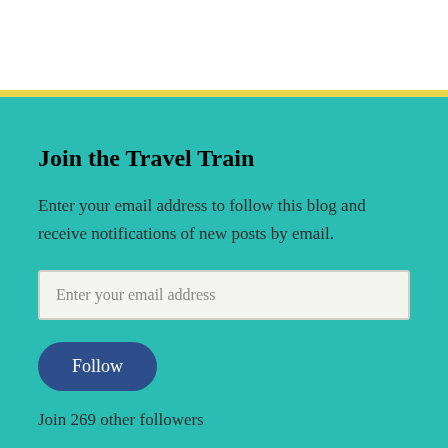Join the Travel Train
Enter your email address to follow this blog and receive notifications of new posts by email.
Enter your email address
Follow
Join 269 other followers